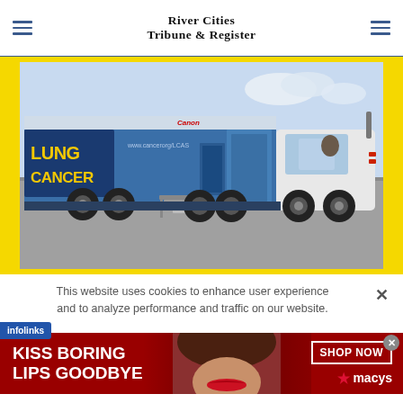River Cities Tribune & Register
[Figure (photo): A large blue semi-truck with 'Lung Cancer' branding on the trailer side, sponsored by Canon, parked in a parking lot. The trailer has steps leading up to an entrance. The truck cab is white.]
This website uses cookies to enhance user experience and to analyze performance and traffic on our website.
[Figure (infographic): Infolinks advertisement badge in blue]
[Figure (infographic): Macy's advertisement banner with red background showing 'KISS BORING LIPS GOODBYE' text with SHOP NOW button and Macy's star logo]